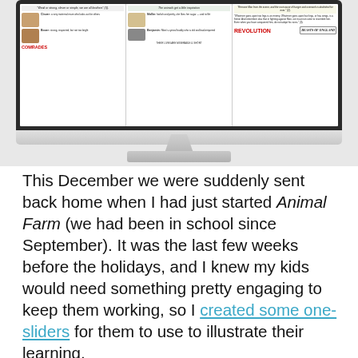[Figure (screenshot): A screenshot of an Animal Farm infographic displayed on a Mac-style monitor. The screen shows three columns with character descriptions (Clover, Boxer, Mollie, Benjamin), quotes about brotherhood and revolution, animal illustrations, and labels including 'COMRADES', 'THEIR LIVES ARE MISERABLE & SHORT', and 'REVOLUTION' in red text, along with 'BEASTS OF ENGLAND' text.]
This December we were suddenly sent back home when I had just started Animal Farm (we had been in school since September). It was the last few weeks before the holidays, and I knew my kids would need something pretty engaging to keep them working, so I created some one-sliders for them to use to illustrate their learning.